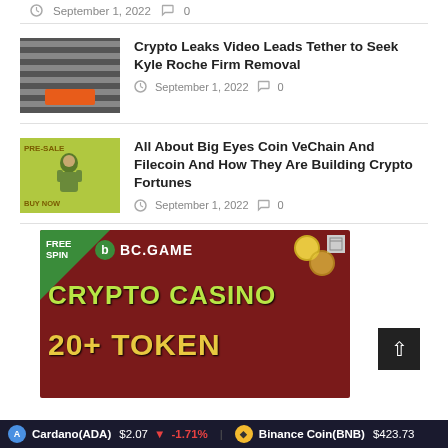September 1, 2022  0
[Figure (photo): Photo of a warehouse with stacked server racks and a scissor lift]
Crypto Leaks Video Leads Tether to Seek Kyle Roche Firm Removal
September 1, 2022  0
[Figure (illustration): Green promotional illustration with PRE-SALE BUY NOW text and a cartoon character]
All About Big Eyes Coin VeChain And Filecoin And How They Are Building Crypto Fortunes
September 1, 2022  0
[Figure (screenshot): BC.GAME crypto casino advertisement banner with FREE SPIN offer, CRYPTO CASINO and 20+ TOKEN text]
Cardano(ADA) $2.07 -1.71%  Binance Coin(BNB) $423.73